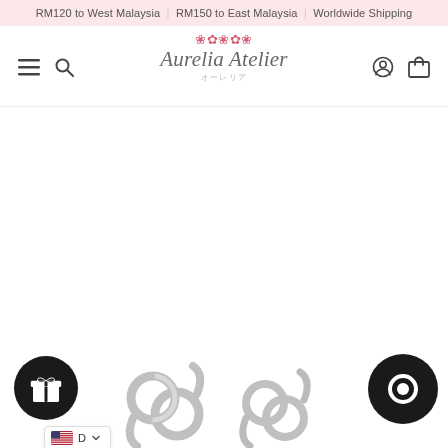RM120 to West Malaysia | RM150 to East Malaysia | Worldwide Shipping
[Figure (logo): Aurelia Atelier logo with decorative floral motif and Japanese text オーレリア, navigation bar with hamburger menu, search, account and cart icons]
[Figure (photo): Two silver interlocking knot earrings shown front view and side view, with reflections below, against white background. Gift button and chat button overlaid. USD currency selector badge visible.]